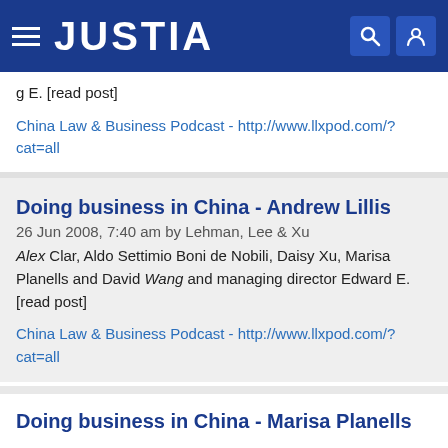JUSTIA
g E. [read post]
China Law & Business Podcast - http://www.llxpod.com/?cat=all
Doing business in China - Andrew Lillis
26 Jun 2008, 7:40 am by Lehman, Lee & Xu
Alex Clar, Aldo Settimio Boni de Nobili, Daisy Xu, Marisa Planells and David Wang and managing director Edward E. [read post]
China Law & Business Podcast - http://www.llxpod.com/?cat=all
Doing business in China - Marisa Planells